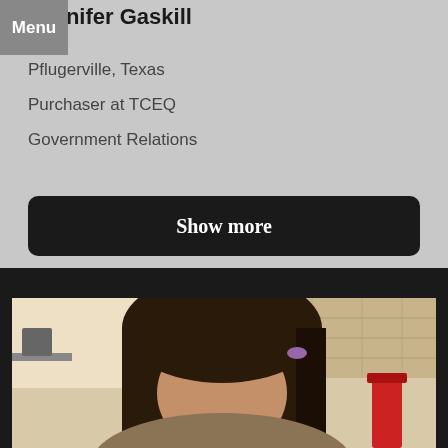Jennifer Gaskill
Menu
Pflugerville, Texas
Purchaser at TCEQ
Government Relations
Show more
[Figure (photo): Profile photo of a person with dark brown hair, taken indoors with a beige/stone tile wall background and some items on a shelf to the left.]